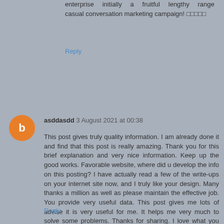enterprise initially a fruitful lengthy range casual conversation marketing campaign! 🔲🔲🔲🔲🔲
Reply
asddasdd 3 August 2021 at 00:38
This post gives truly quality information. I am already done it and find that this post is really amazing. Thank you for this brief explanation and very nice information. Keep up the good works. Favorable website, where did u develop the info on this posting? I have actually read a few of the write-ups on your internet site now, and I truly like your design. Many thanks a million as well as please maintain the effective job. You provide very useful data. This post gives me lots of advise it is very useful for me. It helps me very much to solve some problems. Thanks for sharing. I love what you guys are up too. Such clever work and exposure! Keep up the very good works guys . 🔲🔲🔲🔲🔲🔲🔲🔲
Reply